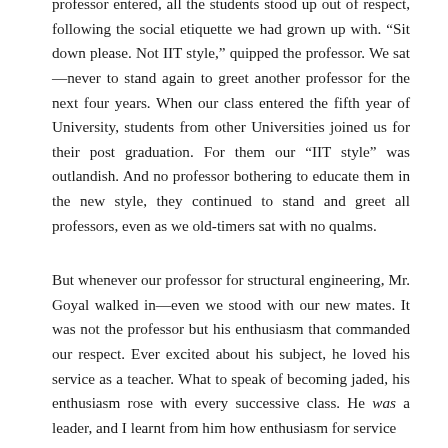professor entered, all the students stood up out of respect, following the social etiquette we had grown up with. “Sit down please. Not IIT style,” quipped the professor. We sat—never to stand again to greet another professor for the next four years. When our class entered the fifth year of University, students from other Universities joined us for their post graduation. For them our “IIT style” was outlandish. And no professor bothering to educate them in the new style, they continued to stand and greet all professors, even as we old-timers sat with no qualms.
But whenever our professor for structural engineering, Mr. Goyal walked in—even we stood with our new mates. It was not the professor but his enthusiasm that commanded our respect. Ever excited about his subject, he loved his service as a teacher. What to speak of becoming jaded, his enthusiasm rose with every successive class. He was a leader, and I learnt from him how enthusiasm for service